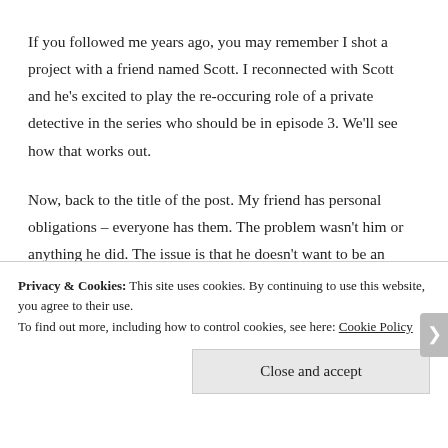If you followed me years ago, you may remember I shot a project with a friend named Scott. I reconnected with Scott and he's excited to play the re-occuring role of a private detective in the series who should be in episode 3. We'll see how that works out.
Now, back to the title of the post. My friend has personal obligations – everyone has them. The problem wasn't him or anything he did. The issue is that he doesn't want to be an actor. I need to find fucking actors
Privacy & Cookies: This site uses cookies. By continuing to use this website, you agree to their use.
To find out more, including how to control cookies, see here: Cookie Policy
Close and accept